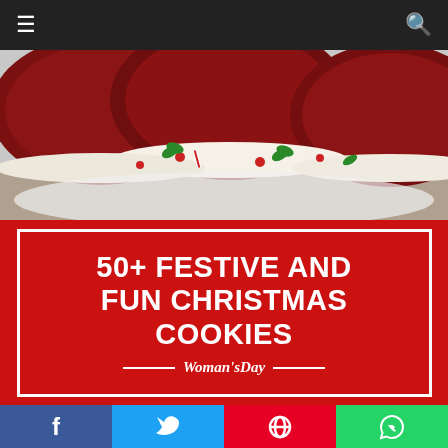[Figure (screenshot): Dark navigation bar with hamburger menu icon on left and search icon on right]
[Figure (photo): Close-up photo of red velvet whoopie pie sandwich cookies with white cream filling and red and green candy decorations on a white plate]
50+ FESTIVE AND FUN CHRISTMAS COOKIES
[Figure (logo): Woman's Day logo in white italic text with white horizontal lines on either side]
[Figure (photo): Two smaller photos at bottom: left shows a red Santa/reindeer cookie on white background, right shows reindeer-shaped cookies with M&M candies and candy eyes]
[Figure (infographic): Social sharing bar with Facebook (blue), Twitter (blue), Pinterest (red), and WhatsApp (green) buttons]